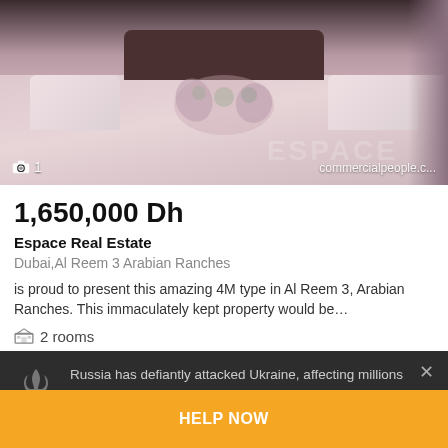[Figure (photo): Bedroom photo showing bed with floral bedding, headboard, pillows. Overlay shows camera icon with '1' count and watermark text 'commercialpeople.c...' and 'ESPACE' text.]
1,650,000 Dh
Espace Real Estate
Dubai,Al Reem 3 Arabian Ranches
is proud to present this amazing 4M type in Al Reem 3, Arabian Ranches. This immaculately kept property would be…
2 rooms
Russia has defiantly attacked Ukraine, affecting millions of peaceful Ukrainians.
Please help by transferring funds to a special humanitarian account of the NBU.
HELP NOW